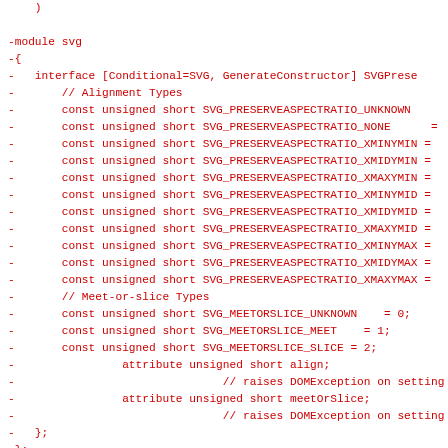Code diff showing removal of SVG module and interface definitions for SVGPreserveAspectRatio, including alignment types and meet-or-slice types constants, followed by addition of new module svg block.